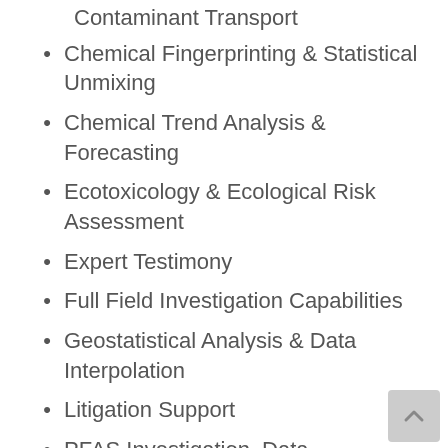Contaminant Transport
Chemical Fingerprinting & Statistical Unmixing
Chemical Trend Analysis & Forecasting
Ecotoxicology & Ecological Risk Assessment
Expert Testimony
Full Field Investigation Capabilities
Geostatistical Analysis & Data Interpolation
Litigation Support
PFAS Investigation, Data Interpretation, Fate & Transport Assessment, Source Evaluation
Strategy Development
Trial Preparation, Exhibits & Support